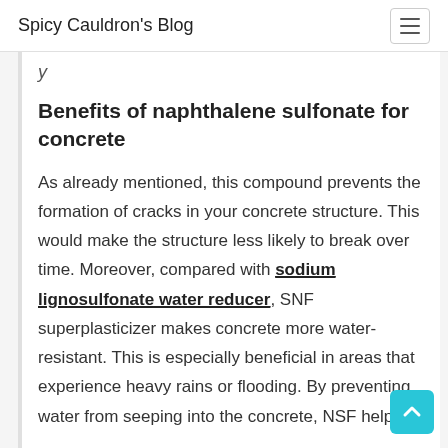Spicy Cauldron's Blog
y
Benefits of naphthalene sulfonate for concrete
As already mentioned, this compound prevents the formation of cracks in your concrete structure. This would make the structure less likely to break over time. Moreover, compared with sodium lignosulfonate water reducer, SNF superplasticizer makes concrete more water-resistant. This is especially beneficial in areas that experience heavy rains or flooding. By preventing water from seeping into the concrete, NSF helps to